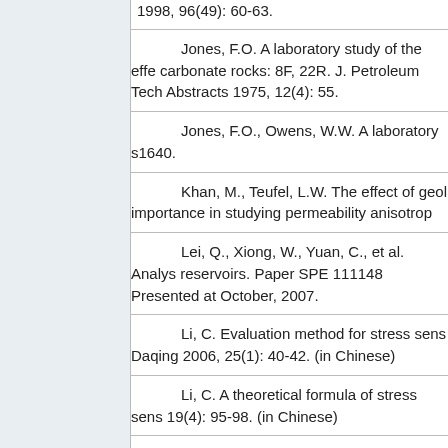1998, 96(49): 60-63.
Jones, F.O. A laboratory study of the effects of confining pressure on fracture flow and storage capacity in carbonate rocks: 8F, 22R. J. Petroleum Tech. with Authors' Reply and Discussers' Abstracts 1975, 12(4): 55.
Jones, F.O., Owens, W.W. A laboratory study of low-permeability gas sands. JPT 1980: 1631-1640.
Khan, M., Teufel, L.W. The effect of geological and geomechanical parameters on reservoir stress path and its importance in studying permeability anisotropy.
Lei, Q., Xiong, W., Yuan, C., et al. Analysis of stress sensitivity and its influence on water flooding in tight reservoirs. Paper SPE 111148 Presented at the SPE Eastern Regional Meeting, Lexington, Kentucky, October, 2007.
Li, C. Evaluation method for stress sensitivity reservoir. Journal of DaQing Petroleum Institute, Daqing 2006, 25(1): 40-42. (in Chinese)
Li, C. A theoretical formula of stress sensitivity in reservoir pores. Petroleum Exploration and Development 1992, 19(4): 95-98. (in Chinese)
Lorenz, J.C. Stress-sensitive reservoirs.
Mckee, C.R., Bumb, A.C., Koenig, R.A. Stress-dependent permeability and porosity of coal and other geologic formations 1988, 3(1): 81-91.